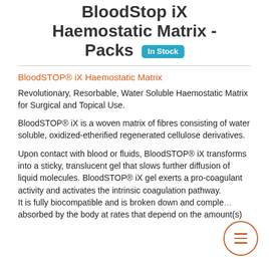BloodStop iX Haemostatic Matrix - Packs In Stock
BloodSTOP® iX Haemostatic Matrix
Revolutionary, Resorbable, Water Soluble Haemostatic Matrix for Surgical and Topical Use.
BloodSTOP® iX is a woven matrix of fibres consisting of water soluble, oxidized-etherified regenerated cellulose derivatives.
Upon contact with blood or fluids, BloodSTOP® iX transforms into a sticky, translucent gel that slows further diffusion of liquid molecules. BloodSTOP® iX gel exerts a pro-coagulant activity and activates the intrinsic coagulation pathway.
It is fully biocompatible and is broken down and completely absorbed by the body at rates that depend on the amount(s)